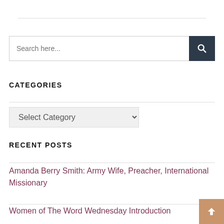[Figure (screenshot): Search input box with dark navy search button containing a magnifying glass icon]
CATEGORIES
[Figure (screenshot): Select Category dropdown menu]
RECENT POSTS
Amanda Berry Smith: Army Wife, Preacher, International Missionary
Women of The Word Wednesday Introduction